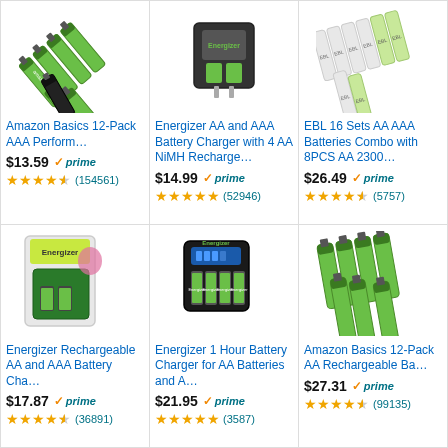[Figure (photo): Amazon Basics AAA batteries, green, pack of 12]
Amazon Basics 12-Pack AAA Perform…
$13.59 ✓prime
★★★★½ (154561)
[Figure (photo): Energizer AA and AAA Battery Charger with batteries]
Energizer AA and AAA Battery Charger with 4 AA NiMH Recharge…
$14.99 ✓prime
★★★★★ (52946)
[Figure (photo): EBL AA AAA batteries combo pack]
EBL 16 Sets AA AAA Batteries Combo with 8PCS AA 2300…
$26.49 ✓prime
★★★★½ (5757)
[Figure (photo): Energizer Rechargeable AA and AAA Battery Charger]
Energizer Rechargeable AA and AAA Battery Cha…
$17.87 ✓prime
★★★★½ (36891)
[Figure (photo): Energizer 1 Hour Battery Charger for AA batteries]
Energizer 1 Hour Battery Charger for AA Batteries and A…
$21.95 ✓prime
★★★★★ (3587)
[Figure (photo): Amazon Basics 12-Pack AA Rechargeable Batteries]
Amazon Basics 12-Pack AA Rechargeable Ba…
$27.31 ✓prime
★★★★½ (99135)